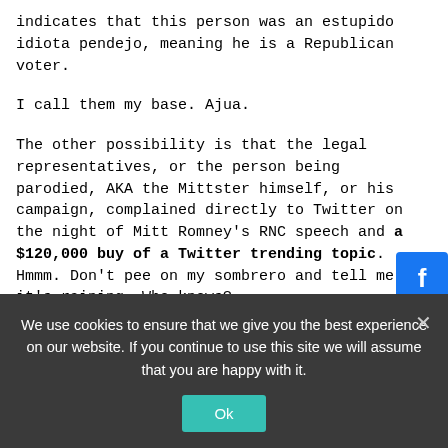indicates that this person was an estupido idiota pendejo, meaning he is a Republican voter.
I call them my base. Ajua.
The other possibility is that the legal representatives, or the person being parodied, AKA the Mittster himself, or his campaign, complained directly to Twitter on the night of Mitt Romney's RNC speech and a $120,000 buy of a Twitter trending topic. Hmmm. Don't pee on my sombrero and tell me it's raining. Who knows?
Twitter, or as it is known back on my old polygamous Mexican compound, Tuiter,
We use cookies to ensure that we give you the best experience on our website. If you continue to use this site we will assume that you are happy with it.